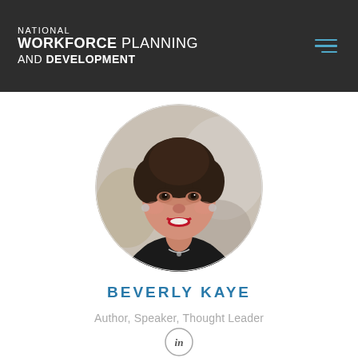NATIONAL WORKFORCE PLANNING AND DEVELOPMENT
[Figure (photo): Circular profile photo of Beverly Kaye, a smiling older woman with short dark hair, wearing a black top, against a blurred background.]
BEVERLY KAYE
Author, Speaker, Thought Leader
[Figure (logo): LinkedIn icon — 'in' inside a circle outline.]